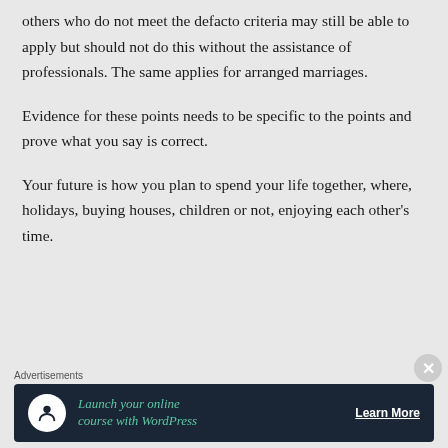others who do not meet the defacto criteria may still be able to apply but should not do this without the assistance of professionals. The same applies for arranged marriages.
Evidence for these points needs to be specific to the points and prove what you say is correct.
Your future is how you plan to spend your life together, where, holidays, buying houses, children or not, enjoying each other’s time.
Advertisements
[Figure (infographic): Advertisement banner with dark navy background. Shows a tree/person icon in white circle on left, teal italic text 'Launch your online course with WordPress' in center, and 'Learn More' button with underline on right.]